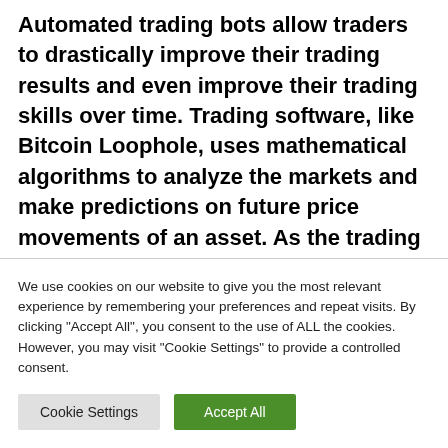Automated trading bots allow traders to drastically improve their trading results and even improve their trading skills over time. Trading software, like Bitcoin Loophole, uses mathematical algorithms to analyze the markets and make predictions on future price movements of an asset. As the trading software is completely automated, you can eliminate the dangers associated with emotional trading
We use cookies on our website to give you the most relevant experience by remembering your preferences and repeat visits. By clicking "Accept All", you consent to the use of ALL the cookies. However, you may visit "Cookie Settings" to provide a controlled consent.